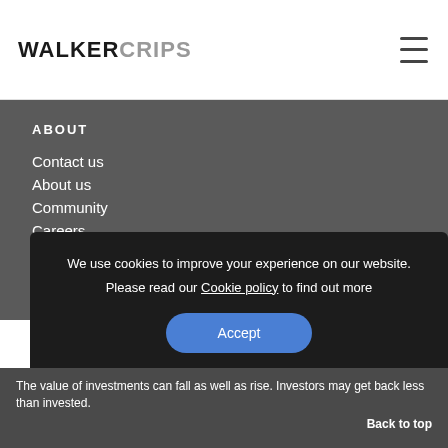WALKERCRIPS
About
Contact us
About us
Community
Careers
Investor relations
We use cookies to improve your experience on our website. Please read our Cookie policy to find out more
Accept
The value of investments can fall as well as rise. Investors may get back less than invested. Back to top